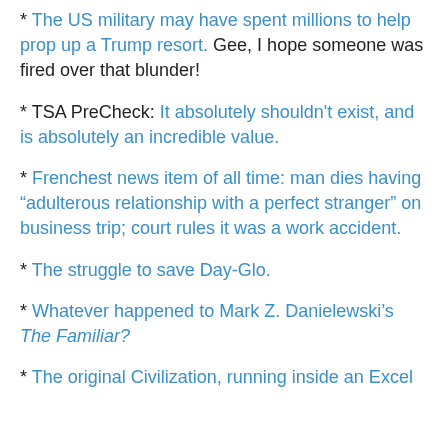* The US military may have spent millions to help prop up a Trump resort. Gee, I hope someone was fired over that blunder!
* TSA PreCheck: It absolutely shouldn't exist, and is absolutely an incredible value.
* Frenchest news item of all time: man dies having “adulterous relationship with a perfect stranger” on business trip; court rules it was a work accident.
* The struggle to save Day-Glo.
* Whatever happened to Mark Z. Danielewski’s The Familiar?
* The original Civilization, running inside an Excel